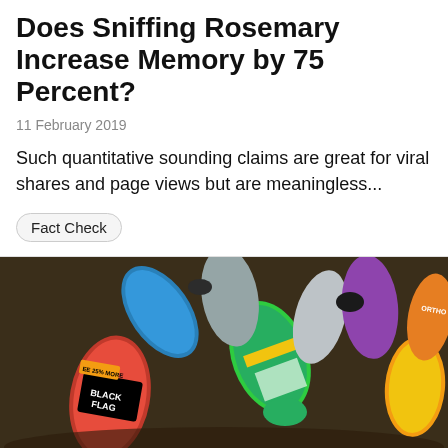Does Sniffing Rosemary Increase Memory by 75 Percent?
11 February 2019
Such quantitative sounding claims are great for viral shares and page views but are meaningless...
Fact Check
[Figure (photo): A pile of spray cans including Black Flag ant and roach killer, Ortho, and other aerosol products in various colors]
[Figure (other): Advertisement banner for BitLife - Life Simulator with red background showing app interface and install button]